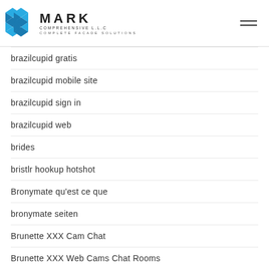MARK COMPREHENSIVE L.L.C — COMPLETE FACADE SOLUTIONS
brazilcupid gratis
brazilcupid mobile site
brazilcupid sign in
brazilcupid web
brides
bristlr hookup hotshot
Bronymate qu'est ce que
bronymate seiten
Brunette XXX Cam Chat
Brunette XXX Web Cams Chat Rooms